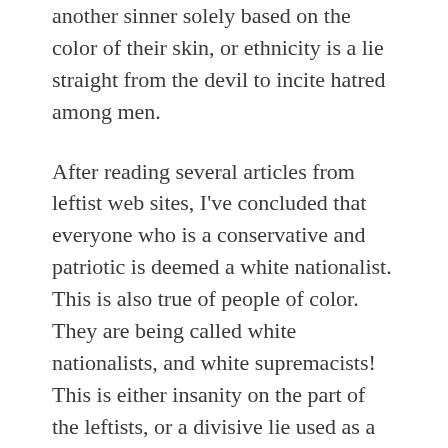another sinner solely based on the color of their skin, or ethnicity is a lie straight from the devil to incite hatred among men.
After reading several articles from leftist web sites, I've concluded that everyone who is a conservative and patriotic is deemed a white nationalist. This is also true of people of color. They are being called white nationalists, and white supremacists! This is either insanity on the part of the leftists, or a divisive lie used as a bogeyman to scare people into submission.
The leftists have presupposed that everyone who is Christian, conservative, patriotic, and traditional is a white supremacist and a white nationalist. Their